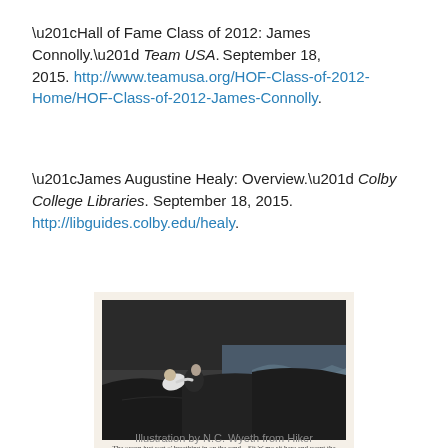“Hall of Fame Class of 2012: James Connolly.” Team USA. September 18, 2015. http://www.teamusa.org/HOF-Class-of-2012-Home/HOF-Class-of-2012-James-Connolly.
“James Augustine Healy: Overview.” Colby College Libraries. September 18, 2015. http://libguides.colby.edu/healy.
[Figure (illustration): Black and white illustration showing two figures on coastal rocks near the sea, one leaning over the other. Caption beneath reads: 'The ocean just sort o' breathing in on the sand—Sit 'n' me sit here and count the breaths like.']
Illustration by N.C. Wyeth from Hiker